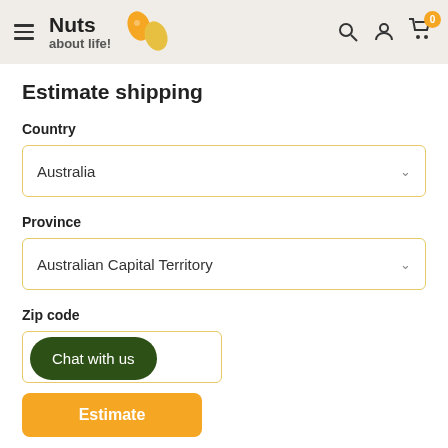Nuts about life! — navigation header with logo, search, account, and cart icons
Estimate shipping
Country
Australia
Province
Australian Capital Territory
Zip code
Chat with us
Estimate